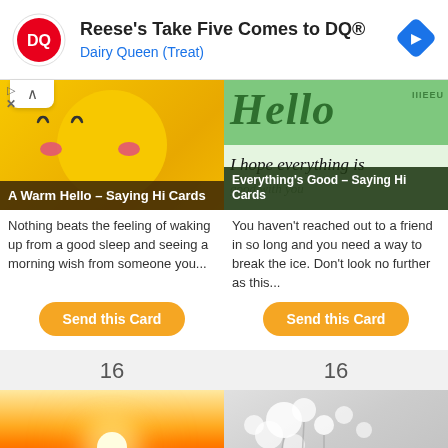[Figure (screenshot): Dairy Queen advertisement banner with DQ logo, text 'Reese's Take Five Comes to DQ®', subtitle 'Dairy Queen (Treat)', and navigation arrow icon]
[Figure (photo): Yellow smiley emoji face card image with closed eyes and pink cheeks, caption bar reading 'A Warm Hello – Saying Hi Cards']
[Figure (photo): Green 'Hello' text card with 'I hope everything is' text and caption 'Everything's Good – Saying Hi Cards']
Nothing beats the feeling of waking up from a good sleep and seeing a morning wish from someone you...
You haven't reached out to a friend in so long and you need a way to break the ice. Don't look no further as this...
Send this Card
Send this Card
16
16
[Figure (photo): Sunset landscape photo with orange and yellow sky and bright sun glow]
[Figure (photo): White floral/baby's breath flowers on grey background]